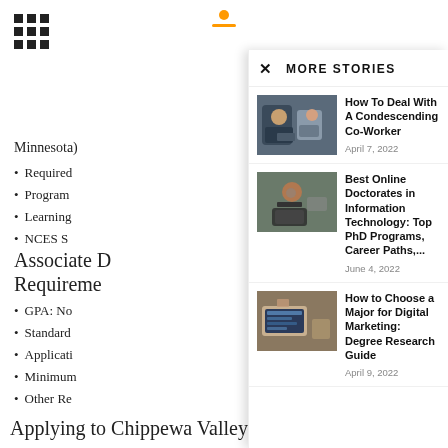[Figure (screenshot): Grid/menu icon (3x3 dots) in top left corner of background page]
Minnesota)
Required
Program
Learning
NCES S
Associate D
Requireme
GPA: No
Standard
Applicati
Minimum
Other Re
MORE STORIES
[Figure (photo): Two people at a desk with a laptop, one person leaning and talking]
How To Deal With A Condescending Co-Worker
April 7, 2022
[Figure (photo): Person in headphones sitting at laptop, thinking]
Best Online Doctorates in Information Technology: Top PhD Programs, Career Paths,...
June 4, 2022
[Figure (photo): Hands using a tablet with marketing analytics interface]
How to Choose a Major for Digital Marketing: Degree Research Guide
April 9, 2022
Applying to Chippewa Valley Technical College